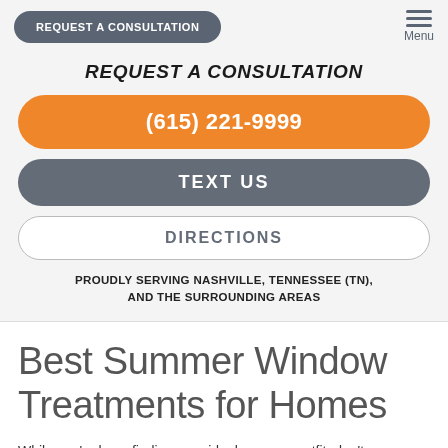REQUEST A CONSULTATION | Menu
REQUEST A CONSULTATION
(615) 221-9999
TEXT US
DIRECTIONS
PROUDLY SERVING NASHVILLE, TENNESSEE (TN), AND THE SURROUNDING AREAS
Best Summer Window Treatments for Homes
While you're busy finding your ideal summer outfit, don't